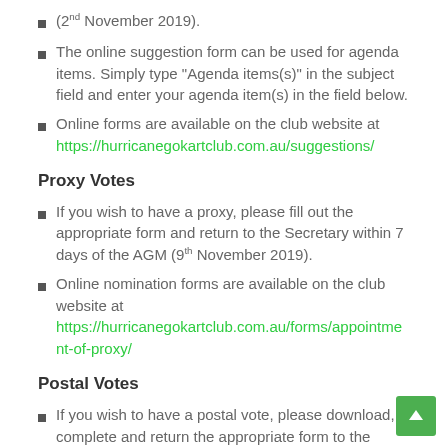(2nd November 2019).
The online suggestion form can be used for agenda items. Simply type "Agenda items(s)" in the subject field and enter your agenda item(s) in the field below.
Online forms are available on the club website at https://hurricanegokartclub.com.au/suggestions/
Proxy Votes
If you wish to have a proxy, please fill out the appropriate form and return to the Secretary within 7 days of the AGM (9th November 2019).
Online nomination forms are available on the club website at https://hurricanegokartclub.com.au/forms/appointment-of-proxy/
Postal Votes
If you wish to have a postal vote, please download, complete and return the appropriate form to the